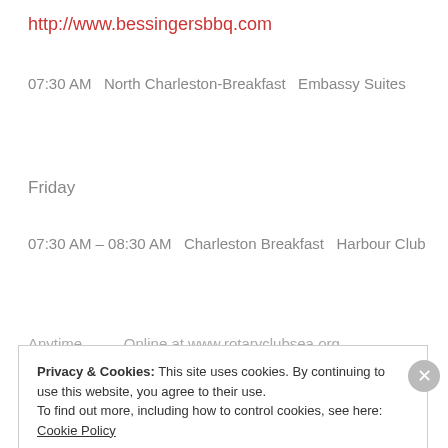http://www.bessingersbbq.com
07:30 AM  North Charleston-Breakfast   Embassy Suites
Friday
07:30 AM – 08:30 AM  Charleston Breakfast   Harbour Club
Anytime         Online at www.rotaryclubsea.org
Privacy & Cookies: This site uses cookies. By continuing to use this website, you agree to their use.
To find out more, including how to control cookies, see here: Cookie Policy
Close and accept